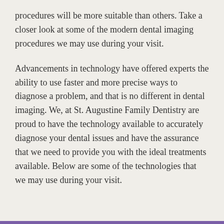procedures will be more suitable than others. Take a closer look at some of the modern dental imaging procedures we may use during your visit.
Advancements in technology have offered experts the ability to use faster and more precise ways to diagnose a problem, and that is no different in dental imaging. We, at St. Augustine Family Dentistry are proud to have the technology available to accurately diagnose your dental issues and have the assurance that we need to provide you with the ideal treatments available. Below are some of the technologies that we may use during your visit.